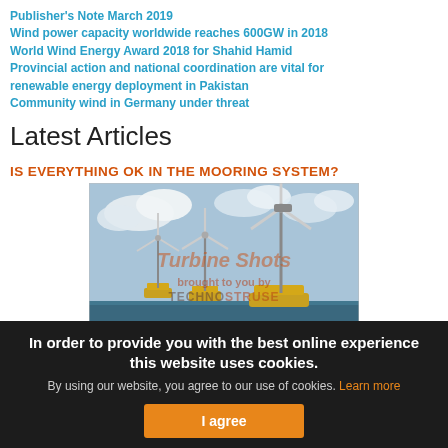Publisher's Note March 2019
Wind power capacity worldwide reaches 600GW in 2018
World Wind Energy Award 2018 for Shahid Hamid
Provincial action and national coordination are vital for renewable energy deployment in Pakistan
Community wind in Germany under threat
Latest Articles
IS EVERYTHING OK IN THE MOORING SYSTEM?
[Figure (photo): Offshore floating wind turbines on yellow platforms in open sea with cloudy sky]
Turbine Shots
brought to you by
TECHNO STRUSE
In order to provide you with the best online experience this website uses cookies.
By using our website, you agree to our use of cookies. Learn more
I agree